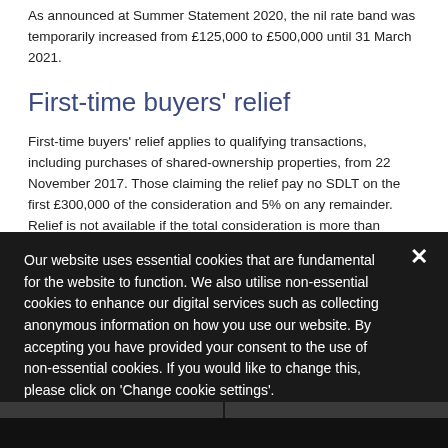As announced at Summer Statement 2020, the nil rate band was temporarily increased from £125,000 to £500,000 until 31 March 2021.
First-time buyers' relief
First-time buyers' relief applies to qualifying transactions, including purchases of shared-ownership properties, from 22 November 2017. Those claiming the relief pay no SDLT on the first £300,000 of the consideration and 5% on any remainder. Relief is not available if the total consideration is more than £500,000.
Our website uses essential cookies that are fundamental for the website to function. We also utilise non-essential cookies to enhance our digital services such as collecting anonymous information on how you use our website. By accepting you have provided your consent to the use of non-essential cookies. If you would like to change this, please click on 'Change cookie settings'.